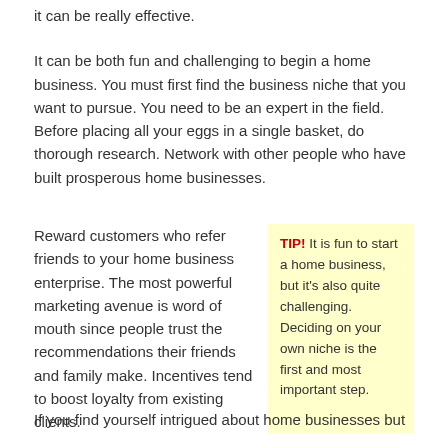it can be really effective.
It can be both fun and challenging to begin a home business. You must first find the business niche that you want to pursue. You need to be an expert in the field. Before placing all your eggs in a single basket, do thorough research. Network with other people who have built prosperous home businesses.
Reward customers who refer friends to your home business enterprise. The most powerful marketing avenue is word of mouth since people trust the recommendations their friends and family make. Incentives tend to boost loyalty from existing clients.
TIP! It is fun to start a home business, but it's also quite challenging. Deciding on your own niche is the first and most important step.
If you find yourself intrigued about home businesses but